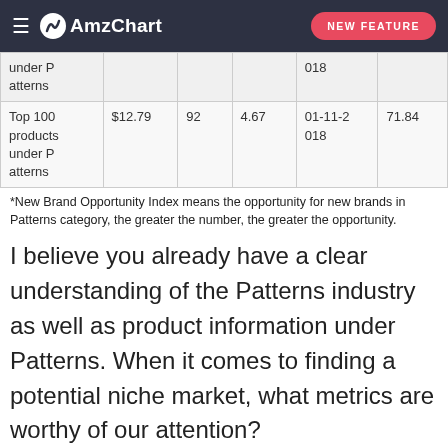AmzChart — NEW FEATURE
| under Patterns |  |  |  | 018 |  |
| Top 100 products under Patterns | $12.79 | 92 | 4.67 | 01-11-2018 | 71.84 |
*New Brand Opportunity Index means the opportunity for new brands in Patterns category, the greater the number, the greater the opportunity.
I believe you already have a clear understanding of the Patterns industry as well as product information under Patterns. When it comes to finding a potential niche market, what metrics are worthy of our attention?